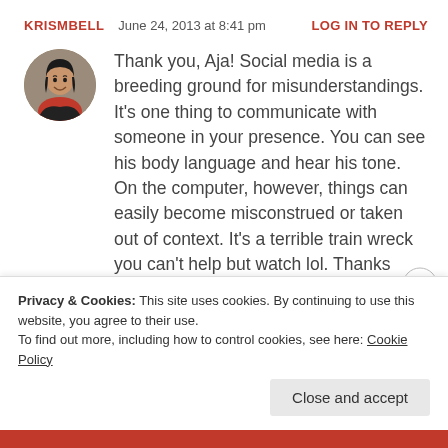KRISMBELL  June 24, 2013 at 8:41 pm  LOG IN TO REPLY
[Figure (photo): Round avatar photo of a smiling woman]
Thank you, Aja! Social media is a breeding ground for misunderstandings. It’s one thing to communicate with someone in your presence. You can see his body language and hear his tone. On the computer, however, things can easily become misconstrued or taken out of context. It’s a terrible train wreck you can’t help but watch lol. Thanks again
Privacy & Cookies: This site uses cookies. By continuing to use this website, you agree to their use.
To find out more, including how to control cookies, see here: Cookie Policy
Close and accept